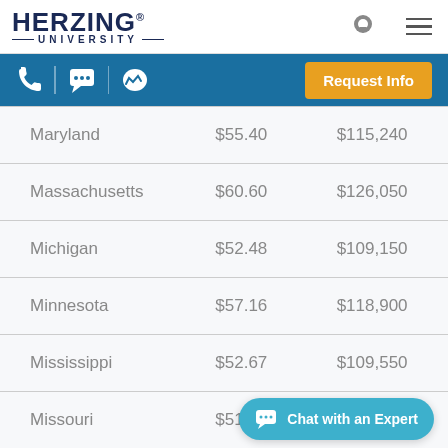[Figure (logo): Herzing University logo with navigation icons (pin and hamburger menu)]
[Figure (screenshot): Blue action bar with phone, chat, and messenger icons and an orange Request Info button]
| State | Per hour | Per year |
| --- | --- | --- |
| Maryland | $55.40 | $115,240 |
| Massachusetts | $60.60 | $126,050 |
| Michigan | $52.48 | $109,150 |
| Minnesota | $57.16 | $118,900 |
| Mississippi | $52.67 | $109,550 |
| Missouri | $51.38 | $106,870 |
[Figure (screenshot): Teal 'Chat with an Expert' button at bottom right]
State   Per hour   Per year